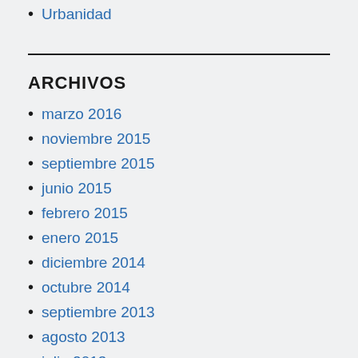Urbanidad
ARCHIVOS
marzo 2016
noviembre 2015
septiembre 2015
junio 2015
febrero 2015
enero 2015
diciembre 2014
octubre 2014
septiembre 2013
agosto 2013
julio 2013